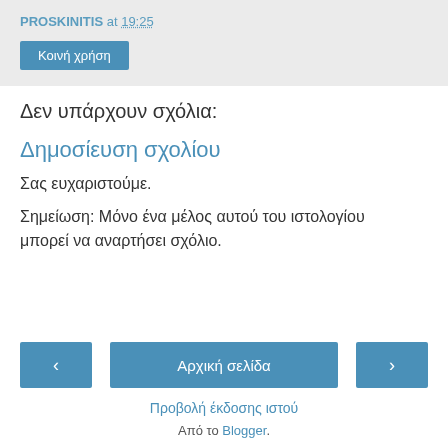PROSKINITIS at 19:25
Κοινή χρήση
Δεν υπάρχουν σχόλια:
Δημοσίευση σχολίου
Σας ευχαριστούμε.
Σημείωση: Μόνο ένα μέλος αυτού του ιστολογίου μπορεί να αναρτήσει σχόλιο.
‹  Αρχική σελίδα  ›
Προβολή έκδοσης ιστού
Από το Blogger.